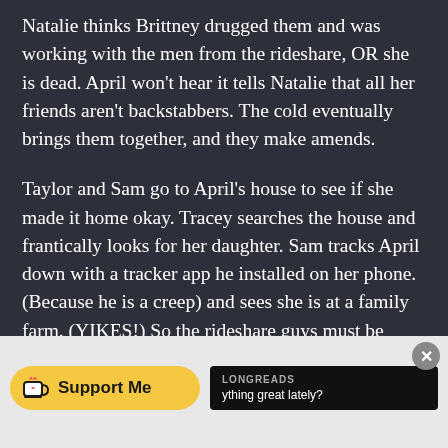Natalie thinks Brittney drugged them and was working with the men from the rideshare, OR she is dead. April won't hear it tells Natalie that all her friends aren't backstabbers. The cold eventually brings them together, and they make amends.
Taylor and Sam go to April's house to see if she made it home okay. Tracey searches the house and frantically looks for her daughter. Sam tracks April down with a tracker app he installed on her phone. (Because he is a creep) and sees she is at a family farm. (YIKES!) So the rideshare guys must be brothers.
Tracey, Taylor, Sam search through some
[Figure (screenshot): Bottom UI overlay with a yellow 'Support Me' button with a coffee cup icon, and a Longreads black promo box with text 'LONGREADS' and 'ything great lately?'. A grey close (X) button is on the right.]